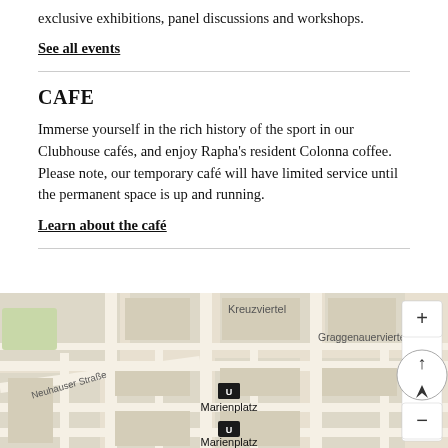exclusive exhibitions, panel discussions and workshops.
See all events
CAFE
Immerse yourself in the rich history of the sport in our Clubhouse cafés, and enjoy Rapha's resident Colonna coffee. Please note, our temporary café will have limited service until the permanent space is up and running.
Learn about the café
[Figure (map): Street map showing Marienplatz area in Munich with Kreuzviertel, Neuhauser Straße, Graggenauerviertel labels, two transit icons for Marienplatz, zoom controls (+/-) and compass arrow on the right side.]